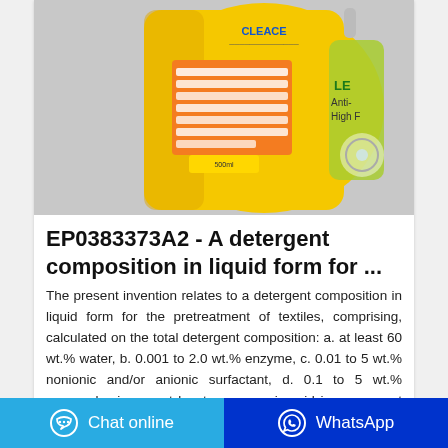[Figure (photo): A yellow detergent package (liquid detergent bottle/pouch) photographed against a light gray background. The package is yellow with orange and green accents, showing a label with usage instructions and text reading 'LEMON', 'Anti-', 'High F' visible on the right side.]
EP0383373A2 - A detergent composition in liquid form for ...
The present invention relates to a detergent composition in liquid form for the pretreatment of textiles, comprising, calculated on the total detergent composition: a. at least 60 wt.% water, b. 0.001 to 2.0 wt.% enzyme, c. 0.01 to 5 wt.% nonionic and/or anionic surfactant, d. 0.1 to 5 wt.% propanolamine, e. at least one organic acid in an amount up to a pH ranging from 5 to 12, f. 0 to 30 wt ...
Chat online   WhatsApp